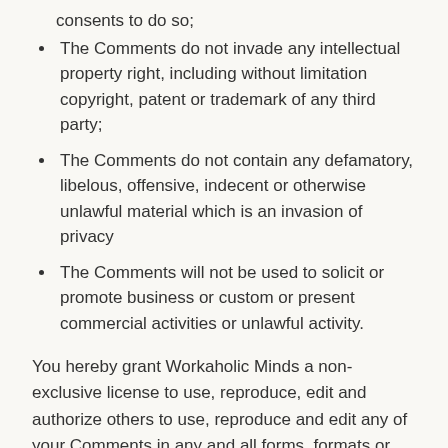consents to do so;
The Comments do not invade any intellectual property right, including without limitation copyright, patent or trademark of any third party;
The Comments do not contain any defamatory, libelous, offensive, indecent or otherwise unlawful material which is an invasion of privacy
The Comments will not be used to solicit or promote business or custom or present commercial activities or unlawful activity.
You hereby grant Workaholic Minds a non-exclusive license to use, reproduce, edit and authorize others to use, reproduce and edit any of your Comments in any and all forms, formats or media.